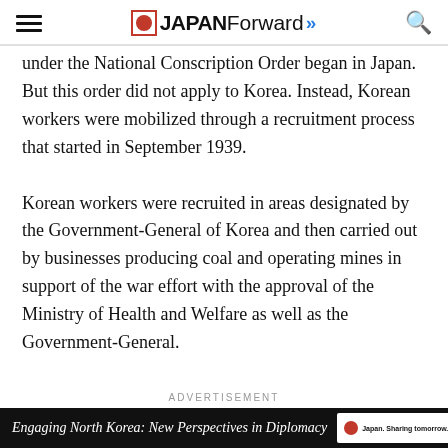JAPAN Forward
under the National Conscription Order began in Japan. But this order did not apply to Korea. Instead, Korean workers were mobilized through a recruitment process that started in September 1939.
Korean workers were recruited in areas designated by the Government-General of Korea and then carried out by businesses producing coal and operating mines in support of the war effort with the approval of the Ministry of Health and Welfare as well as the Government-General.
ADVERTISEMENT
[Figure (other): Advertisement banner: 'Engaging North Korea: New Perspectives in Diplomacy' with Japan Forward logo]